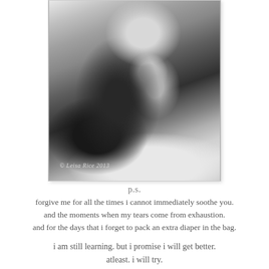[Figure (photo): Black and white photograph of a mother kissing/nuzzling a newborn baby she is holding close to her chest. Watermark reads '© Leisa Rice 2013'.]
p.s.
forgive me for all the times i cannot immediately soothe you.
and the moments when my tears come from exhaustion.
and for the days that i forget to pack an extra diaper in the bag.

i am still learning. but i promise i will get better.
atleast. i will try.
xoxo.